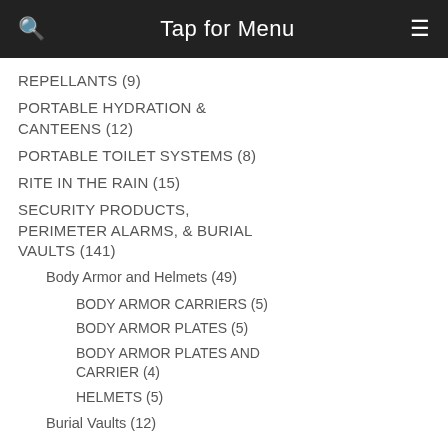Tap for Menu
REPELLANTS (9)
PORTABLE HYDRATION & CANTEENS (12)
PORTABLE TOILET SYSTEMS (8)
RITE IN THE RAIN (15)
SECURITY PRODUCTS, PERIMETER ALARMS, & BURIAL VAULTS (141)
Body Armor and Helmets (49)
BODY ARMOR CARRIERS (5)
BODY ARMOR PLATES (5)
BODY ARMOR PLATES AND CARRIER (4)
HELMETS (5)
Burial Vaults (12)